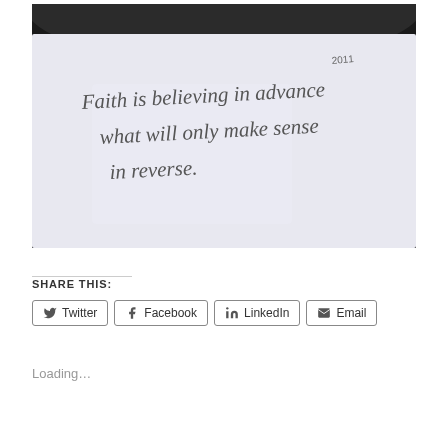[Figure (photo): A photograph of a handwritten quote on white paper reading: 'Faith is believing in advance what will only make sense in reverse.' with a small notation '2011' in the upper right corner of the paper.]
SHARE THIS:
Twitter
Facebook
LinkedIn
Email
Loading...